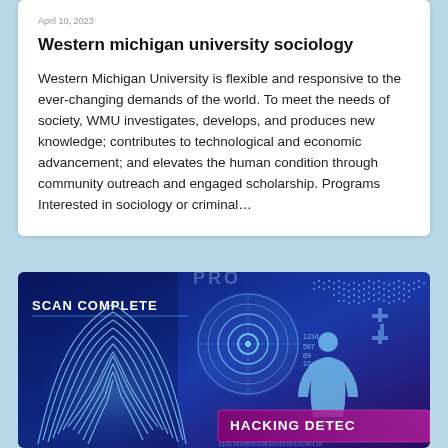April 10, 2023
Western michigan university sociology
Western Michigan University is flexible and responsive to the ever-changing demands of the world. To meet the needs of society, WMU investigates, develops, and produces new knowledge; contributes to technological and economic advancement; and elevates the human condition through community outreach and engaged scholarship. Programs Interested in sociology or criminal…
[Figure (photo): Digital cybersecurity concept image showing a glowing fingerprint scan with text 'SCAN COMPLETE', a circular radar/scanner, a digital world map, a person silhouette with data, and text 'HACKING DETECTED' on a blue-toned background.]